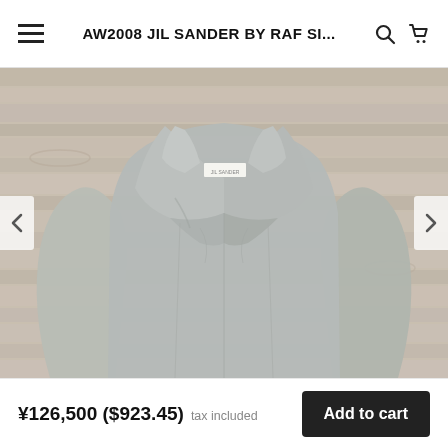AW2008 JIL SANDER BY RAF SI...
[Figure (photo): A light grey/sage Jil Sander coat laid flat on a wooden surface, showing wide lapels and structured silhouette. The coat has a Jil Sander label visible at the collar.]
¥126,500 ($923.45) tax included
Add to cart